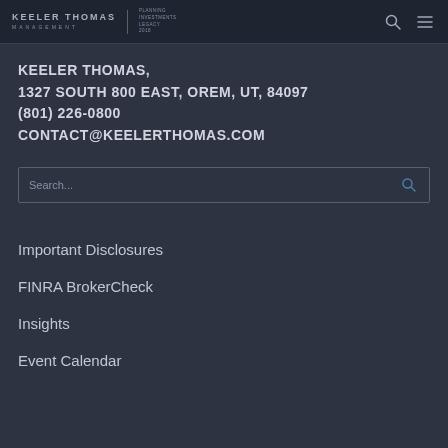KEELER THOMAS MANAGEMENT | PLANNING · INVESTMENTS · LEGACY
KEELER THOMAS,
1327 SOUTH 800 EAST, OREM, UT, 84097
(801) 226-0800
CONTACT@KEELERTHOMAS.COM
Search...
Important Disclosures
FINRA BrokerCheck
Insights
Event Calendar